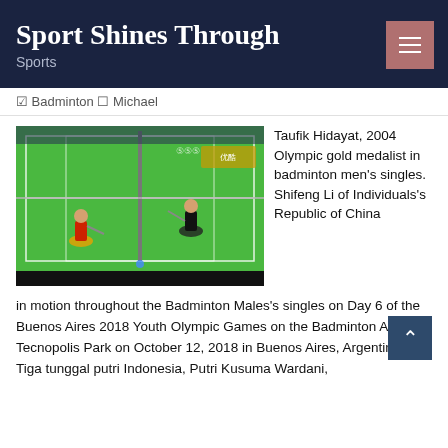Sport Shines Through — Sports
Badminton | Michael
[Figure (photo): Badminton match photo showing two players on a green court, one in yellow/red and one in black, with a net between them. Olympic rings visible in background. Arena setting.]
Taufik Hidayat, 2004 Olympic gold medalist in badminton men's singles. Shifeng Li of Individuals's Republic of China in motion throughout the Badminton Males's singles on Day 6 of the Buenos Aires 2018 Youth Olympic Games on the Badminton Arena, Tecnopolis Park on October 12, 2018 in Buenos Aires, Argentina. Tiga tunggal putri Indonesia, Putri Kusuma Wardani,